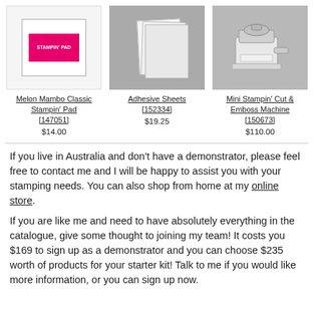[Figure (photo): Melon Mambo Classic Stampin' Pad product image - pink/magenta ink pad]
Melon Mambo Classic Stampin' Pad [147051] $14.00
[Figure (photo): Adhesive Sheets product image - white sheets on gray background]
Adhesive Sheets [152334] $19.25
[Figure (photo): Mini Stampin' Cut & Emboss Machine product image - white machine on gray background]
Mini Stampin' Cut & Emboss Machine [150673] $110.00
If you live in Australia and don't have a demonstrator, please feel free to contact me and I will be happy to assist you with your stamping needs. You can also shop from home at my online store.
If you are like me and need to have absolutely everything in the catalogue, give some thought to joining my team! It costs you $169 to sign up as a demonstrator and you can choose $235 worth of products for your starter kit! Talk to me if you would like more information, or you can sign up now.